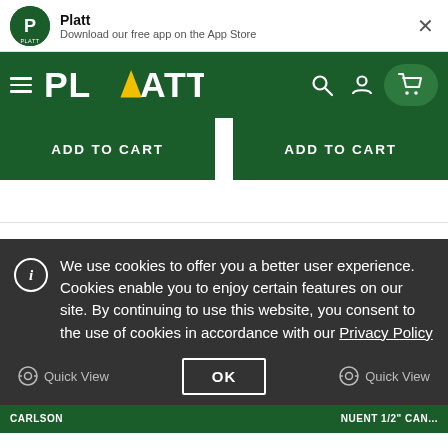Platt — Download our free app on the App Store
[Figure (screenshot): Platt website navigation bar with hamburger menu, PLATT logo, search, account, and cart icons on dark green background]
ADD TO CART | ADD TO CART
We use cookies to offer you a better user experience. Cookies enable you to enjoy certain features on our site. By continuing to use this website, you consent to the use of cookies in accordance with our Privacy Policy
Quick View | OK | Quick View
CARLSON | NUENT 1/2" CAN...